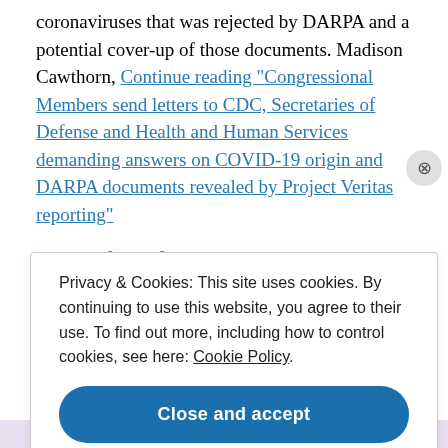EcoHealth Alliance to research bat-borne coronaviruses that was rejected by DARPA and a potential cover-up of those documents. Madison Cawthorn, Continue reading "Congressional Members send letters to CDC, Secretaries of Defense and Health and Human Services demanding answers on COVID-19 origin and DARPA documents revealed by Project Veritas reporting"
Privacy & Cookies: This site uses cookies. By continuing to use this website, you agree to their use. To find out more, including how to control cookies, see here: Cookie Policy
Close and accept